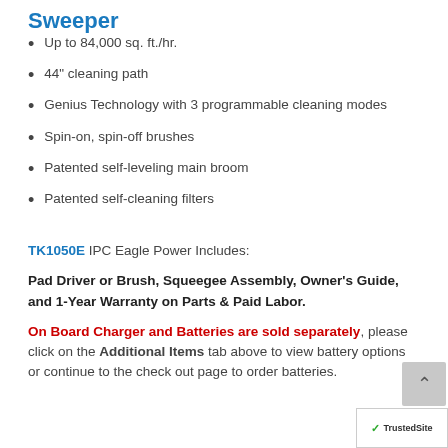Sweeper
Up to 84,000 sq. ft./hr.
44" cleaning path
Genius Technology with 3 programmable cleaning modes
Spin-on, spin-off brushes
Patented self-leveling main broom
Patented self-cleaning filters
TK1050E IPC Eagle Power Includes:
Pad Driver or Brush, Squeegee Assembly, Owner's Guide, and 1-Year Warranty on Parts & Paid Labor.
On Board Charger and Batteries are sold separately, please click on the Additional Items tab above to view battery options or continue to the check out page to order batteries.